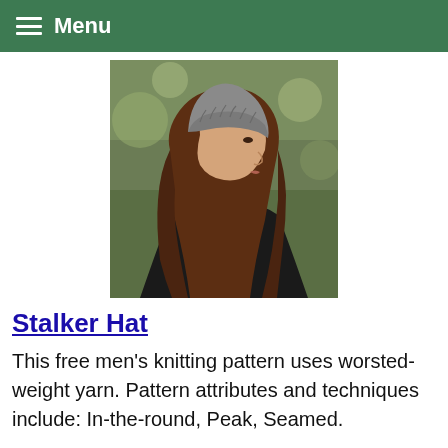Menu
[Figure (photo): Woman in profile view wearing a gray knitted hat with cable texture, long auburn hair, black jacket, blurred green outdoor background]
Stalker Hat
This free men's knitting pattern uses worsted-weight yarn. Pattern attributes and techniques include: In-the-round, Peak, Seamed.